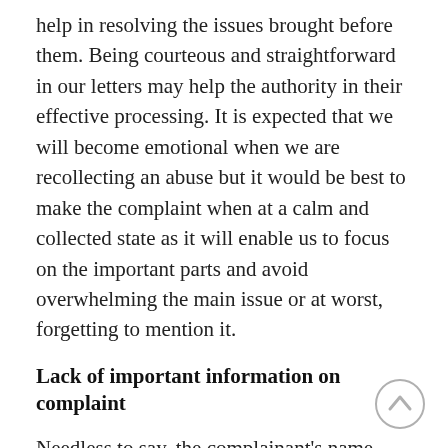help in resolving the issues brought before them. Being courteous and straightforward in our letters may help the authority in their effective processing. It is expected that we will become emotional when we are recollecting an abuse but it would be best to make the complaint when at a calm and collected state as it will enable us to focus on the important parts and avoid overwhelming the main issue or at worst, forgetting to mention it.
Lack of important information on complaint
Needless to say, the complainant's name, contact details, and a clear indication of intent to make a complaint are the basic information that can be provided but no